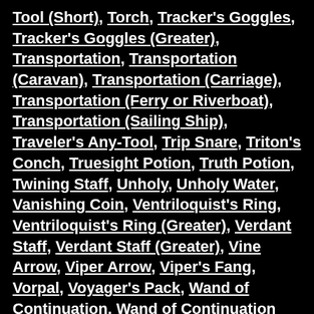Tool (Short), Torch, Tracker's Goggles, Tracker's Goggles (Greater), Transportation, Transportation (Caravan), Transportation (Carriage), Transportation (Ferry or Riverboat), Transportation (Sailing Ship), Traveler's Any-Tool, Trip Snare, Triton's Conch, Truesight Potion, Truth Potion, Twining Staff, Unholy, Unholy Water, Vanishing Coin, Ventriloquist's Ring, Ventriloquist's Ring (Greater), Verdant Staff, Verdant Staff (Greater), Vine Arrow, Viper Arrow, Viper's Fang, Vorpal, Voyager's Pack, Wand of Continuation, Wand of Continuation (1st-Level Spell), Wand of Continuation (2nd-Level Spell), Wand of Continuation (3rd-Level Spell), Wand of Continuation (4th-Level Spell), Wand of Continuation (5th-Level Spell), Wand of Continuation (6th-Level Spell), Wand of Continuation (7th-Level Spell), Wand of Continuation (8th-Level Spell), Wand of Manifold Missiles, Wand of Manifold Missiles (1st-Level Spell), Wand of Manifold Missiles (3rd-Level Spell), Wand of Manifold Missiles (5th-Level Spell), Wand of Manifold Missiles (7th-Level Spell), Wand of Slaying, Wand of Slaying (7th-Level Spell), Wand of Slaying (8th-Level Spell), Wand of